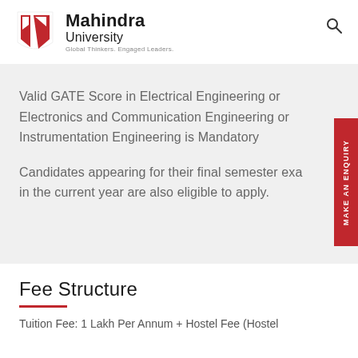Mahindra University — Global Thinkers. Engaged Leaders.
Valid GATE Score in Electrical Engineering or Electronics and Communication Engineering or Instrumentation Engineering is Mandatory
Candidates appearing for their final semester exa in the current year are also eligible to apply.
Fee Structure
Tuition Fee: 1 Lakh Per Annum + Hostel Fee (Hostel